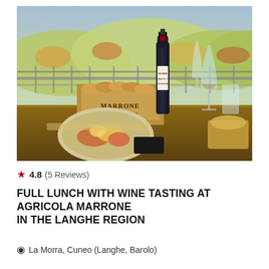[Figure (photo): A dining table on a terrace with a plate of food, a wooden crate labeled MARRONE containing bread, a bottle of Marrone wine, wine glasses, and a pastry dish. The background shows rolling hills of the Langhe region with autumn foliage.]
★ 4.8 (5 Reviews)
FULL LUNCH WITH WINE TASTING AT AGRICOLA MARRONE IN THE LANGHE REGION
📍 La Morra, Cuneo (Langhe, Barolo)